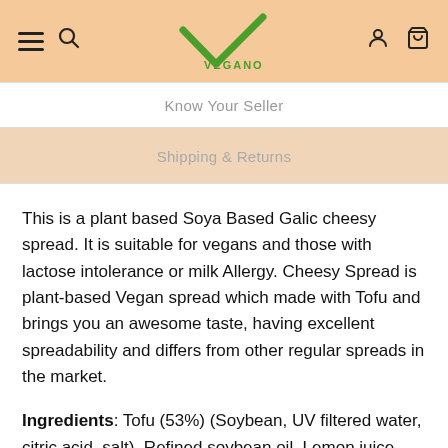Vegano — navigation header with hamburger menu, search, logo, user account, and cart icons
Know Your Seller
Shipping & Returns
This is a plant based Soya Based Galic cheesy spread. It is suitable for vegans and those with lactose intolerance or milk Allergy. Cheesy Spread is plant-based Vegan spread which made with Tofu and brings you an awesome taste, having excellent spreadability and differs from other regular spreads in the market.
Ingredients: Tofu (53%) (Soybean, UV filtered water, citric acid, salt), Refined soybean oil, Lemon juice, Dehydrated Garlic powder, Onion powder, Salt, red chilli flakes, Yeast